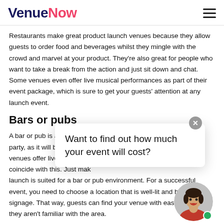VenueNow
Restaurants make great product launch venues because they allow guests to order food and beverages whilst they mingle with the crowd and marvel at your product. They're also great for people who want to take a break from the action and just sit down and chat. Some venues even offer live musical performances as part of their event package, which is sure to get your guests' attention at any launch event.
Bars or pubs
A bar or pub is a great place to hold your product launch party, as it will be able to handle a large crowd. Many venues offer live entertainment, so you may want your event to coincide with this. Just make sure that your product launch is suited for a bar or pub environment. For a successful event, you need to choose a location that is well-lit and has clear signage. That way, guests can find your venue with ease even if they aren't familiar with the area.
[Figure (other): Chat popup widget with text 'Want to find out how much your event will cost?' and a close button, overlaid on the page content. Includes an avatar of a woman with dark hair wearing a red top, with a green online indicator dot.]